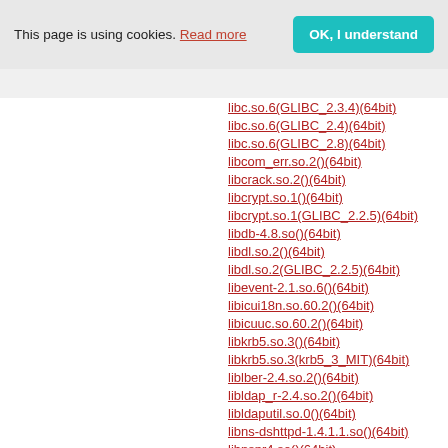This page is using cookies. Read more  OK, I understand
libc.so.6(GLIBC_2.3.4)(64bit)
libc.so.6(GLIBC_2.4)(64bit)
libc.so.6(GLIBC_2.8)(64bit)
libcom_err.so.2()(64bit)
libcrack.so.2()(64bit)
libcrypt.so.1()(64bit)
libcrypt.so.1(GLIBC_2.2.5)(64bit)
libdb-4.8.so()(64bit)
libdl.so.2()(64bit)
libdl.so.2(GLIBC_2.2.5)(64bit)
libevent-2.1.so.6()(64bit)
libicui18n.so.60.2()(64bit)
libicuuc.so.60.2()(64bit)
libkrb5.so.3()(64bit)
libkrb5.so.3(krb5_3_MIT)(64bit)
liblber-2.4.so.2()(64bit)
libldap_r-2.4.so.2()(64bit)
libldaputil.so.0()(64bit)
libns-dshttpd-1.4.1.1.so()(64bit)
libnspr4.so()(64bit)
libnss3.so()(64bit)
libnss3.so(NSS_3.10.2)(64bit)
libnss3.so(NSS_3.12)(64bit)
libnss3.so(NSS_3.2)(64bit)
libnss3.so(NSS_3.3)(64bit)
libnss3.so(NSS_3.4)(64bit)
libnss3.so(NSS_3.6)(64bit)
libnss3.so(NSS_3.9)(64bit)